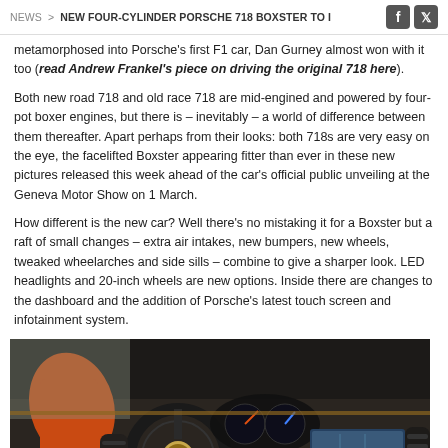NEWS > NEW FOUR-CYLINDER PORSCHE 718 BOXSTER TO I
metamorphosed into Porsche's first F1 car, Dan Gurney almost won with it too (read Andrew Frankel's piece on driving the original 718 here).
Both new road 718 and old race 718 are mid-engined and powered by four-pot boxer engines, but there is – inevitably – a world of difference between them thereafter. Apart perhaps from their looks: both 718s are very easy on the eye, the facelifted Boxster appearing fitter than ever in these new pictures released this week ahead of the car's official public unveiling at the Geneva Motor Show on 1 March.
How different is the new car? Well there's no mistaking it for a Boxster but a raft of small changes – extra air intakes, new bumpers, new wheels, tweaked wheelarches and side sills – combine to give a sharper look. LED headlights and 20-inch wheels are new options. Inside there are changes to the dashboard and the addition of Porsche's latest touch screen and infotainment system.
[Figure (photo): Interior view of the Porsche 718 Boxster showing the dashboard, steering wheel with Porsche crest, instrument cluster, center console with touchscreen navigation system, and orange exterior visible through the side window.]